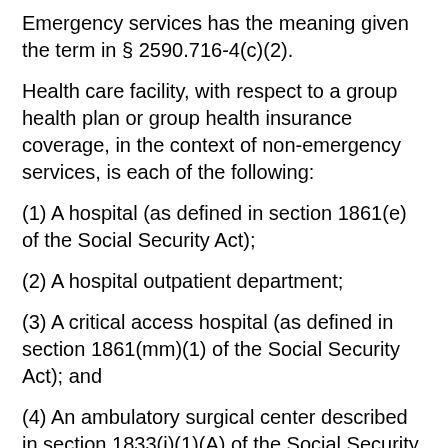Emergency services has the meaning given the term in § 2590.716-4(c)(2).
Health care facility, with respect to a group health plan or group health insurance coverage, in the context of non-emergency services, is each of the following:
(1) A hospital (as defined in section 1861(e) of the Social Security Act);
(2) A hospital outpatient department;
(3) A critical access hospital (as defined in section 1861(mm)(1) of the Social Security Act); and
(4) An ambulatory surgical center described in section 1833(i)(1)(A) of the Social Security Act.
Independent freestanding emergency department means a health care facility (not limited to those described in the definition of health care facility with